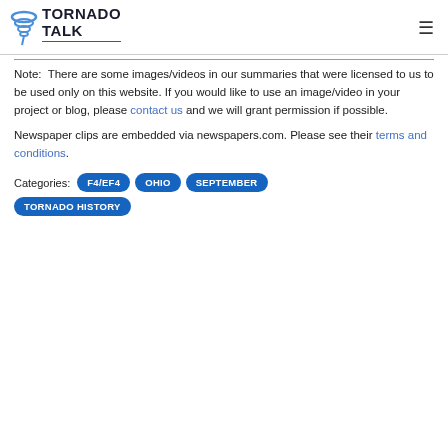TORNADO TALK
Note:  There are some images/videos in our summaries that were licensed to us to be used only on this website. If you would like to use an image/video in your project or blog, please contact us and we will grant permission if possible.
Newspaper clips are embedded via newspapers.com. Please see their terms and conditions.
Categories:  F4/EF4  OHIO  SEPTEMBER  TORNADO HISTORY